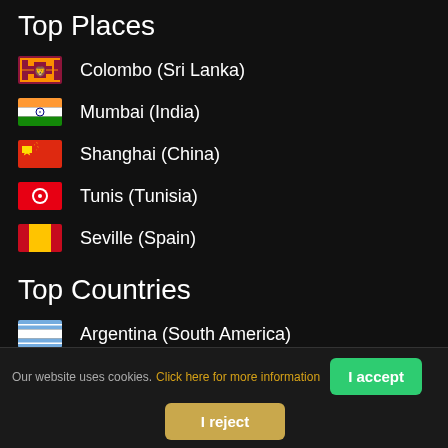Top Places
Colombo (Sri Lanka)
Mumbai (India)
Shanghai (China)
Tunis (Tunisia)
Seville (Spain)
Top Countries
Argentina (South America)
Dominican Republic (North America)
Ecuador (South America)
Spain (Europe)
Iceland (Europe)
Our website uses cookies. Click here for more information  I accept  I reject